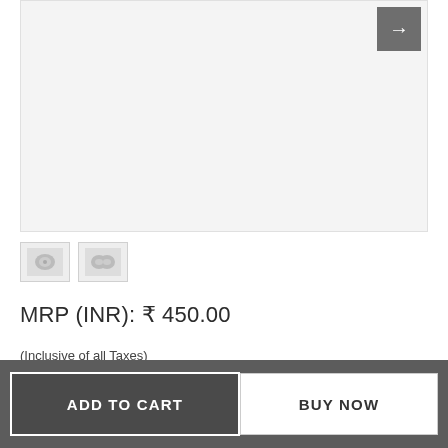[Figure (photo): Product image display area (light gray background) with navigation arrow button at top-right]
[Figure (photo): Two small product thumbnail images below main image area]
MRP (INR): ₹ 450.00
(Inclusive of all Taxes)
Or 3 Interest Free Payments Of ₹150.00 With
ADD TO CART
BUY NOW